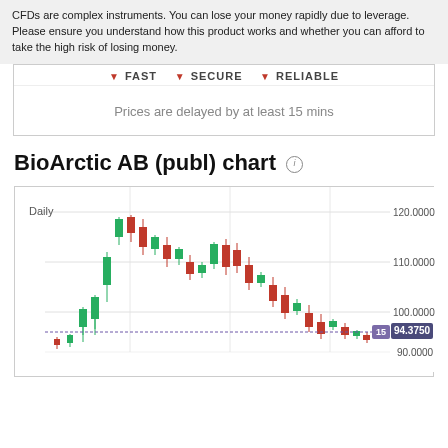CFDs are complex instruments. You can lose your money rapidly due to leverage. Please ensure you understand how this product works and whether you can afford to take the high risk of losing money.
▼ FAST   ▼ SECURE   ▼ RELIABLE
Prices are delayed by at least 15 mins
BioArctic AB (publ) chart ℹ
[Figure (continuous-plot): Daily candlestick chart for BioArctic AB (publ). Shows price action with red (bearish) and green (bullish) candles. Price peaked around 116-118 then declined to current level ~94.3750. Y-axis labels: 120.0000, 110.0000, 100.0000, 90.0000. Current price badge shows 94.3750. Period label: Daily.]